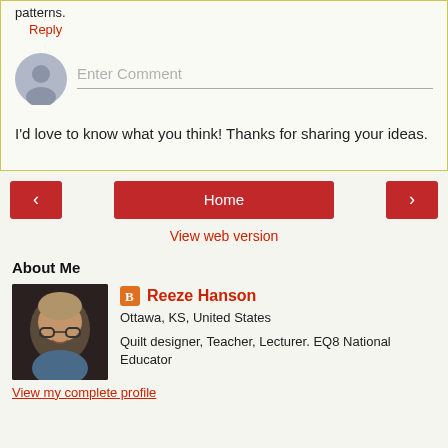patterns.
Reply
Enter Comment
I'd love to know what you think! Thanks for sharing your ideas.
‹
Home
›
View web version
About Me
Reeze Hanson
Ottawa, KS, United States
Quilt designer, Teacher, Lecturer. EQ8 National Educator
View my complete profile